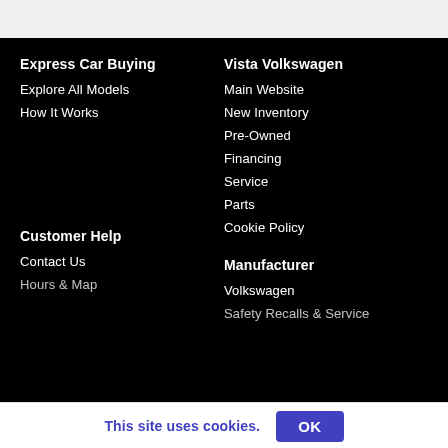Express Car Buying
Explore All Models
How It Works
Vista Volkswagen
Main Website
New Inventory
Pre-Owned
Financing
Service
Parts
Cookie Policy
Customer Help
Contact Us
Hours & Map
Manufacturer
Volkswagen
Safety Recalls & Service
This site uses cookies.